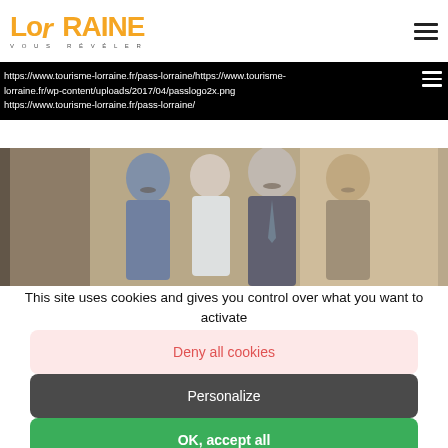LORRAINE VOUS RÉVÉLER
https://www.tourisme-lorraine.fr/pass-lorraine/https://www.tourisme-lorraine.fr/wp-content/uploads/2017/04/passlogo2x.png https://www.tourisme-lorraine.fr/pass-lorraine/
[Figure (photo): Illustration of historical figures, including men in early 20th century attire]
This site uses cookies and gives you control over what you want to activate
Deny all cookies
Personalize
OK, accept all